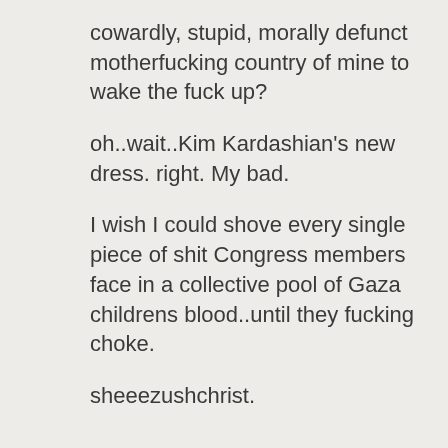cowardly, stupid, morally defunct motherfucking country of mine to wake the fuck up?
oh..wait..Kim Kardashian's new dress. right. My bad.
I wish I could shove every single piece of shit Congress members face in a collective pool of Gaza childrens blood..until they fucking choke.
sheeezushchrist.